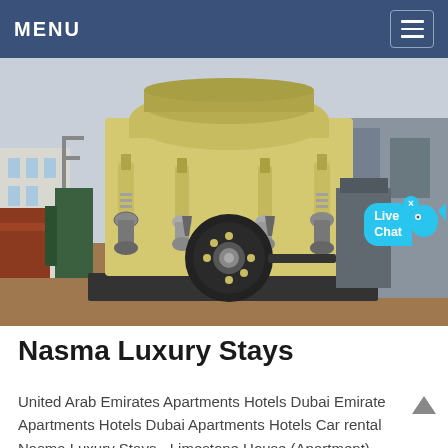MENU
[Figure (photo): Photograph of a large yellow cone crusher / mining/quarry machine with hydraulic cylinders and a black flywheel, photographed in an industrial yard setting.]
Nasma Luxury Stays
United Arab Emirates Apartments Hotels Dubai Emirate Apartments Hotels Dubai Apartments Hotels Car rental Nasma Luxury Stays - Limestone House (Apartment),